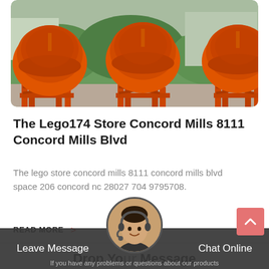[Figure (photo): Large orange industrial bowl/pan mills (concrete mixers) sitting on metal frames outdoors, with green hedges and buildings visible in the background.]
The Lego174 Store Concord Mills 8111 Concord Mills Blvd
The lego store concord mills 8111 concord mills blvd space 206 concord nc 28027 704 9795708.
READ MORE >
Drop Your Message
Leave Message
Chat Online
If you have any problems or questions about our products